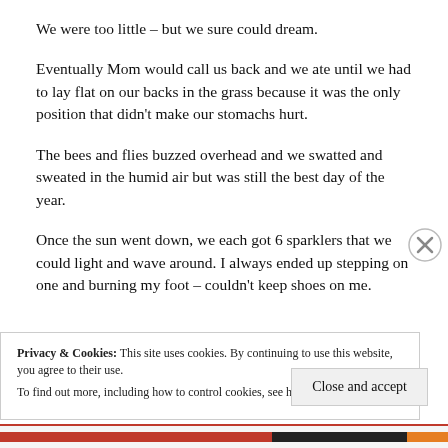We were too little – but we sure could dream.
Eventually Mom would call us back and we ate until we had to lay flat on our backs in the grass because it was the only position that didn't make our stomachs hurt.
The bees and flies buzzed overhead and we swatted and sweated in the humid air but was still the best day of the year.
Once the sun went down, we each got 6 sparklers that we could light and wave around.  I always ended up stepping on one and burning my foot – couldn't keep shoes on me.
Privacy & Cookies: This site uses cookies. By continuing to use this website, you agree to their use.
To find out more, including how to control cookies, see here: Cookie Policy
Close and accept